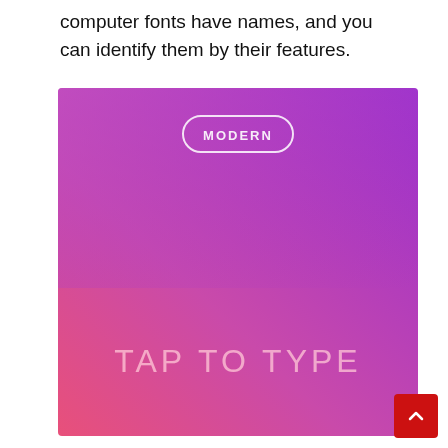computer fonts have names, and you can identify them by their features.
[Figure (screenshot): A mobile app screenshot showing a gradient background from pink/orange at the bottom-left to purple at the top-right, with a pill-shaped button labeled 'MODERN' at the top center and the text 'TAP TO TYPE' in large light pink letters near the bottom center.]